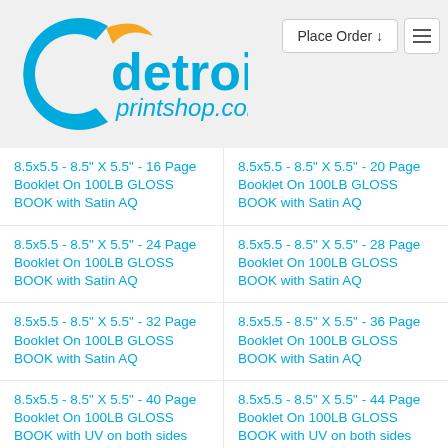[Figure (logo): Detroit Printshop logo with blue C-shape and orange swirl, text 'detroit' in blue and 'printshop.com' in blue italic]
8.5x5.5 - 8.5" X 5.5" - 16 Page Booklet On 100LB GLOSS BOOK with Satin AQ
8.5x5.5 - 8.5" X 5.5" - 20 Page Booklet On 100LB GLOSS BOOK with Satin AQ
8.5x5.5 - 8.5" X 5.5" - 24 Page Booklet On 100LB GLOSS BOOK with Satin AQ
8.5x5.5 - 8.5" X 5.5" - 28 Page Booklet On 100LB GLOSS BOOK with Satin AQ
8.5x5.5 - 8.5" X 5.5" - 32 Page Booklet On 100LB GLOSS BOOK with Satin AQ
8.5x5.5 - 8.5" X 5.5" - 36 Page Booklet On 100LB GLOSS BOOK with Satin AQ
8.5x5.5 - 8.5" X 5.5" - 40 Page Booklet On 100LB GLOSS BOOK with UV on both sides
8.5x5.5 - 8.5" X 5.5" - 44 Page Booklet On 100LB GLOSS BOOK with UV on both sides
8.5x5.5 - 8.5" X 5.5" -
8.5x5.5 - 8.5" X 5.5" -